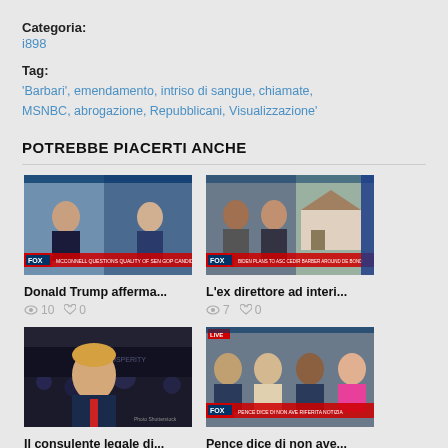Categoria:
i898
Tag:
'Barbari', emendamento, intriso di sangue, chiamate, MSNBC, abrogazione, Repubblicani, Visualizzazione'
POTREBBE PIACERTI ANCHE
[Figure (screenshot): News TV screenshot showing two anchors with Fox News lower third 'MCCONNELL QUESTIONS QUALITY OF SEN GOP CANDIDATES']
Donald Trump afferma...
10  0
[Figure (screenshot): News TV screenshot showing two men and a house, Fox News lower third 'BIDEN PLANS TO ASC CEDIR BARBER AROUND DE BOND']
L'ex direttore ad interi...
7  0
[Figure (photo): Photo of Donald Trump in front of rally crowd with red tie]
Il consulente legale di...
12  0
[Figure (screenshot): Fox News LIVE screenshot showing four panelists including a woman in pink]
Pence dice di non ave...
16  0